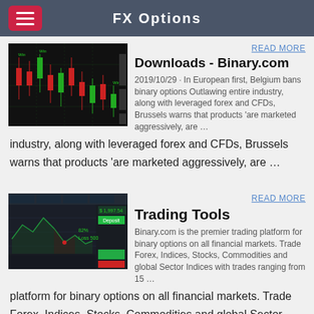FX Options
READ MORE
Downloads - Binary.com
2019/10/29 · In European first, Belgium bans binary options Outlawing entire industry, along with leveraged forex and CFDs, Brussels warns that products 'are marketed aggressively, are …
[Figure (screenshot): Candlestick trading chart showing red and green candles on a dark background]
READ MORE
Trading Tools
Binary.com is the premier trading platform for binary options on all financial markets. Trade Forex, Indices, Stocks, Commodities and global Sector Indices with trades ranging from 15 …
[Figure (screenshot): Binary options trading platform screenshot showing charts and trading interface]
Binary options trading
READ MORE